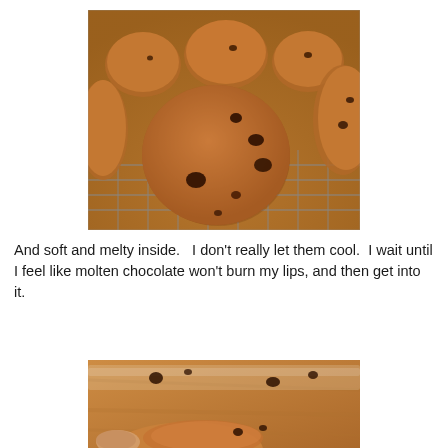[Figure (photo): Chocolate chip cookies cooling on a wire rack over a wooden surface. One large cookie is in the foreground showing visible chocolate chips.]
And soft and melty inside.   I don't really let them cool.  I wait until I feel like molten chocolate won't burn my lips, and then get into it.
[Figure (photo): Close-up photo of a chocolate chip cookie being held or broken apart, showing the inside texture on a wooden surface.]